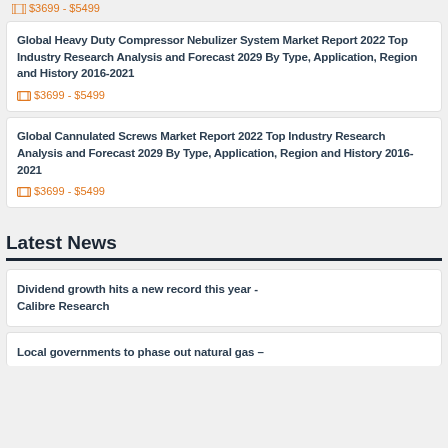$3699 - $5499
Global Heavy Duty Compressor Nebulizer System Market Report 2022 Top Industry Research Analysis and Forecast 2029 By Type, Application, Region and History 2016-2021
$3699 - $5499
Global Cannulated Screws Market Report 2022 Top Industry Research Analysis and Forecast 2029 By Type, Application, Region and History 2016-2021
$3699 - $5499
Latest News
Dividend growth hits a new record this year - Calibre Research
Local governments to phase out natural gas -